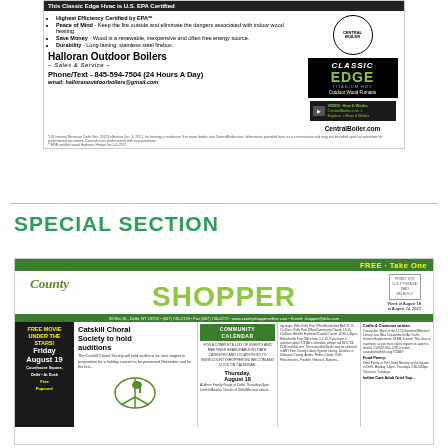[Figure (advertisement): Halloran Outdoor Boilers advertisement featuring Central Boiler Classic Edge Titanium HDX outdoor wood furnace. Lists features: Highest Efficiency Certified by EPA, Peace of Mind, Save Money, Durability. Phone/Text 845-594-7504. Email: halloranoutdoorboilers@gmail.com. CentralBoiler.com.]
SPECIAL SECTION
[Figure (screenshot): County Shopper newspaper front page. Green header bar with 'FREE - Take One'. Logo shows 'County SHOPPER' in green. Week of August 18 to August 24, 2022. Address: 39 Elm St., Delhi, NY 13753. Content includes: Free Movie Under the Stars Friday August 19, Catskill Choral Society to hold auditions, Community Calendar, Thursday August 18 events, and Crafts & Creations notices.]